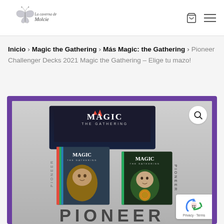La caverna de Molcie — navigation header with logo, cart icon, and menu icon
Inicio > Magic the Gathering > Más Magic: the Gathering > Pioneer Challenger Decks 2021 Magic the Gathering – Elige tu mazo!
[Figure (photo): Product photo of Magic the Gathering Pioneer Challenger Decks 2021 box set, showing multiple deck boxes with 'PIONEER' text in large letters at bottom, on a purple-bordered white background with a magnify/search icon in top right corner. A reCAPTCHA badge appears in the lower right.]